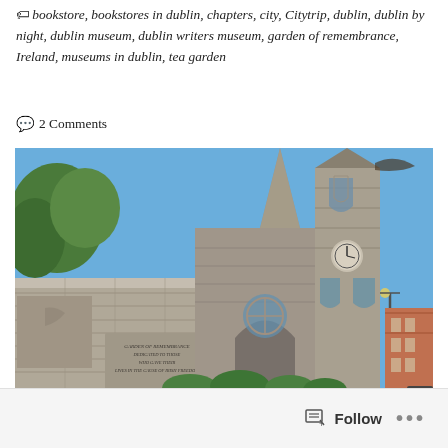🏷 bookstore, bookstores in dublin, chapters, city, Citytrip, dublin, dublin by night, dublin museum, dublin writers museum, garden of remembrance, Ireland, museums in dublin, tea garden
💬 2 Comments
[Figure (photo): Photograph of a Gothic-style church with a tall clock tower and spire, taken from street level beside a stone wall engraved with text about 'Garden of Remembrance dedicated to those who gave their lives in the cause of Irish freedom'. Red brick buildings visible on the right, blue sky background with some green trees on the left.]
Follow  ...